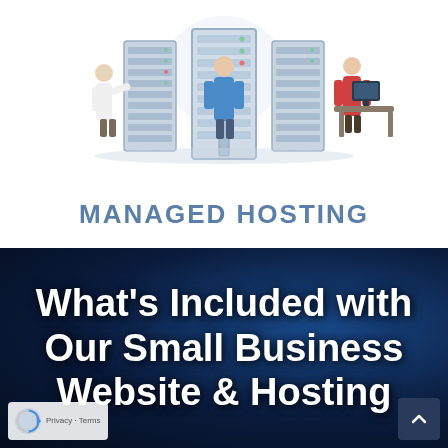[Figure (illustration): Isometric illustration of a managed hosting data center with server racks and technician figures working on them]
Managed Hosting
What's Included with Our Small Business Website & Hosting